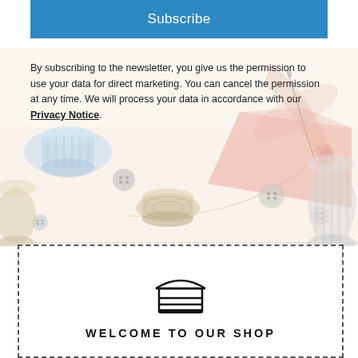Subscribe
By subscribing to the newsletter, you give us the permission to use your data for direct marketing. You can cancel the permission at any time. We will process your data in accordance with our Privacy Notice.
[Figure (illustration): Background illustration with sewing-related items: thread spools, buttons, scissors, needle and fabric in light pastel colors]
[Figure (illustration): Shop/store icon - a simple line drawing of a storefront with an awning]
WELCOME TO OUR SHOP